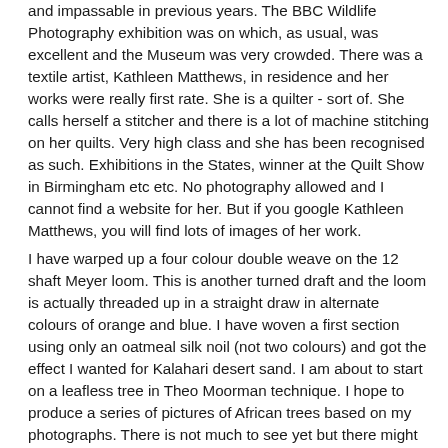and impassable in previous years. The BBC Wildlife Photography exhibition was on which, as usual, was excellent and the Museum was very crowded. There was a textile artist, Kathleen Matthews, in residence and her works were really first rate. She is a quilter - sort of. She calls herself a stitcher and there is a lot of machine stitching on her quilts. Very high class and she has been recognised as such. Exhibitions in the States, winner at the Quilt Show in Birmingham etc etc. No photography allowed and I cannot find a website for her. But if you google Kathleen Matthews, you will find lots of images of her work.
I have warped up a four colour double weave on the 12 shaft Meyer loom. This is another turned draft and the loom is actually threaded up in a straight draw in alternate colours of orange and blue. I have woven a first section using only an oatmeal silk noil (not two colours) and got the effect I wanted for Kalahari desert sand. I am about to start on a leafless tree in Theo Moorman technique. I hope to produce a series of pictures of African trees based on my photographs. There is not much to see yet but there might be a photo in a day or two.